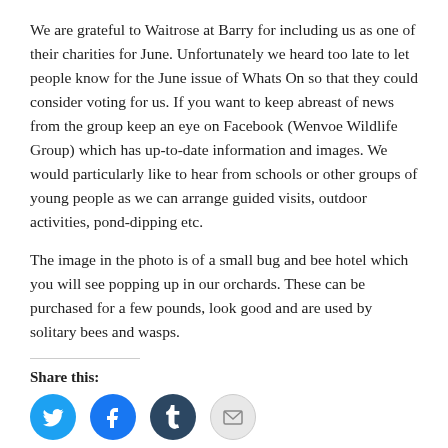We are grateful to Waitrose at Barry for including us as one of their charities for June. Unfortunately we heard too late to let people know for the June issue of Whats On so that they could consider voting for us. If you want to keep abreast of news from the group keep an eye on Facebook (Wenvoe Wildlife Group) which has up-to-date information and images. We would particularly like to hear from schools or other groups of young people as we can arrange guided visits, outdoor activities, pond-dipping etc.
The image in the photo is of a small bug and bee hotel which you will see popping up in our orchards. These can be purchased for a few pounds, look good and are used by solitary bees and wasps.
Share this: